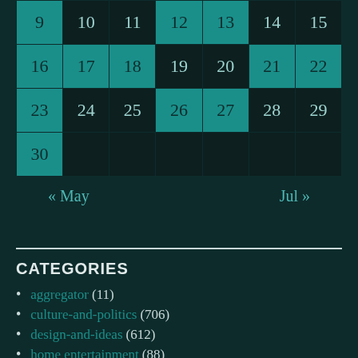| 9 | 10 | 11 | 12 | 13 | 14 | 15 |
| 16 | 17 | 18 | 19 | 20 | 21 | 22 |
| 23 | 24 | 25 | 26 | 27 | 28 | 29 |
| 30 |  |  |  |  |  |  |
« May    Jul »
CATEGORIES
aggregator (11)
culture-and-politics (706)
design-and-ideas (612)
home entertainment (88)